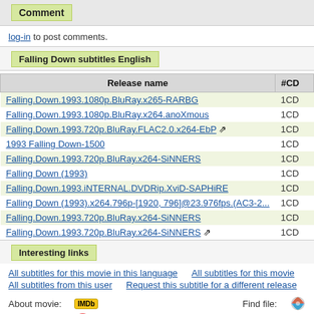Comment
log-in to post comments.
Falling Down subtitles English
| Release name | #CD |
| --- | --- |
| Falling.Down.1993.1080p.BluRay.x265-RARBG | 1CD |
| Falling.Down.1993.1080p.BluRay.x264.anoXmous | 1CD |
| Falling.Down.1993.720p.BluRay.FLAC2.0.x264-EbP 🔗 | 1CD |
| 1993 Falling Down-1500 | 1CD |
| Falling.Down.1993.720p.BluRay.x264-SiNNERS | 1CD |
| Falling Down (1993) | 1CD |
| Falling.Down.1993.iNTERNAL.DVDRip.XviD-SAPHiRE | 1CD |
| Falling Down (1993).x264.796p-[1920, 796]@23.976fps.(AC3-2... | 1CD |
| Falling.Down.1993.720p.BluRay.x264-SiNNERS | 1CD |
| Falling.Down.1993.720p.BluRay.x264-SiNNERS 🔗 | 1CD |
Interesting links
All subtitles for this movie in this language
All subtitles for this movie
All subtitles from this user
Request this subtitle for a different release
About movie: [IMDB logo]   Find file: [colorful icon]
Posters: [circle icon] [IMDB logo]
Others: Your link here